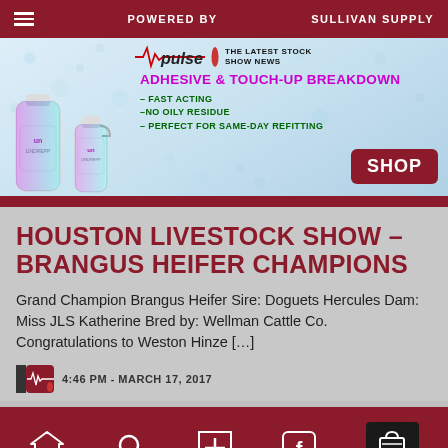POWERED BY  SULLIVAN SUPPLY  pulse  THE LATEST STOCK SHOW NEWS
[Figure (illustration): Advertisement banner for Sullivan Supply Undrepp product featuring two bottles (spray and gallon), bubble background, Pulse logo, headline 'ADHESIVE & TOUCH-UP BREAKDOWN', bullet points '- FAST ACTING', '-NO OILY RESIDUE', '- PERFECT FOR SAME-DAY REFITTING', and a dark red SHOP button]
HOUSTON LIVESTOCK SHOW – BRANGUS HEIFER CHAMPIONS
Grand Champion Brangus Heifer Sire: Doguets Hercules Dam: Miss JLS Katherine Bred by: Wellman Cattle Co. Congratulations to Weston Hinze […]
4:46 PM - MARCH 17, 2017
pulse  [search]  [+]  [facebook]  SHOP